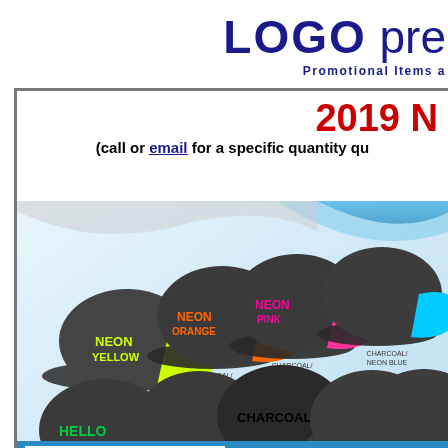LOGO pre
Promotional Items a
2019 N
(call or email for a specific quantity qu
[Figure (photo): Product photo showing B400 New Neon Mesh trucker caps in multiple color combinations: Charcoal/Neon Yellow, Charcoal/Neon Orange, Charcoal/Neon Pink, Charcoal/Neon Blue, Charcoal/Kelly, Charcoal/Red, Charcoal/Black, Charcoal/Navy, Charcoal/Royal, Charcoal/White. Text reads B400 - NEW NEON MESH with product description below.]